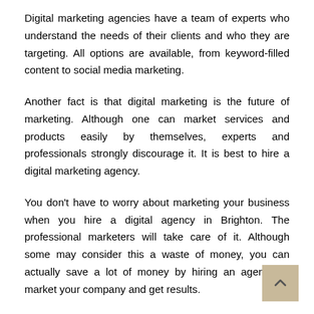Digital marketing agencies have a team of experts who understand the needs of their clients and who they are targeting. All options are available, from keyword-filled content to social media marketing.
Another fact is that digital marketing is the future of marketing. Although one can market services and products easily by themselves, experts and professionals strongly discourage it. It is best to hire a digital marketing agency.
You don't have to worry about marketing your business when you hire a digital agency in Brighton. The professional marketers will take care of it. Although some may consider this a waste of money, you can actually save a lot of money by hiring an agency to market your company and get results.